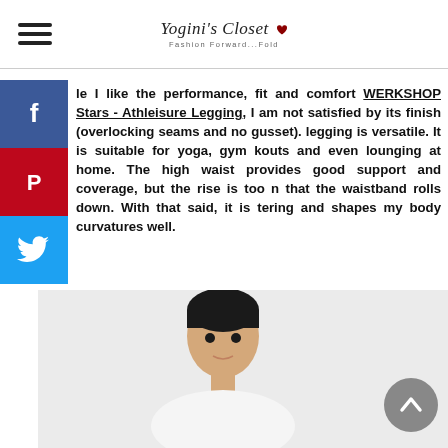Yogini's Closet — Fashion Forward...Fold
...le I like the performance, fit and comfort WERKSHOP Stars - Athleisure Legging, I am not satisfied by its finish (overlocking seams and no gusset). legging is versatile. It is suitable for yoga, gym kouts and even lounging at home. The high waist provides good support and coverage, but the rise is too n that the waistband rolls down. With that said, it is tering and shapes my body curvatures well.
[Figure (photo): Photo of a person (woman with short dark hair) wearing athleisure clothing, partially visible from the chest up against a light gray background]